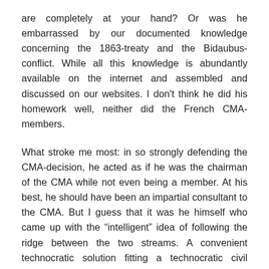are completely at your hand? Or was he embarrassed by our documented knowledge concerning the 1863-treaty and the Bidaubus-conflict. While all this knowledge is abundantly available on the internet and assembled and discussed on our websites. I don't think he did his homework well, neither did the French CMA-members.
What stroke me most: in so strongly defending the CMA-decision, he acted as if he was the chairman of the CMA while not even being a member. At his best, he should have been an impartial consultant to the CMA. But I guess that it was he himself who came up with the “intelligent” idea of following the ridge between the two streams. A convenient technocratic solution fitting a technocratic civil servant from far-away Paris but – as said before – incompatible with the borderline that the authoritative Treaty-text of 1863 prescribes and the historical evidence. I can imagine how the Spanish eagerly complied with this compromise.